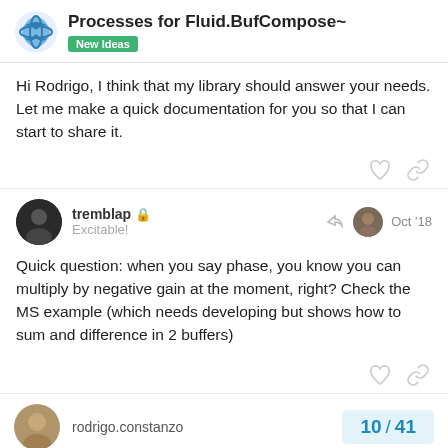Processes for Fluid.BufCompose~ | New Ideas
Hi Rodrigo, I think that my library should answer your needs. Let me make a quick documentation for you so that I can start to share it.
tremblap  Excitable!  Oct '18
Quick question: when you say phase, you know you can multiply by negative gain at the moment, right? Check the MS example (which needs developing but shows how to sum and difference in 2 buffers)
rodrigo.constanzo  10 / 41